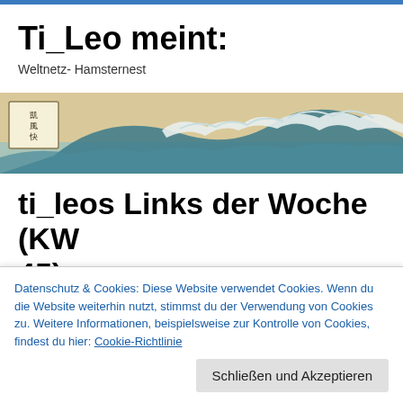Ti_Leo meint:
Weltnetz- Hamsternest
[Figure (photo): Japanese woodblock print banner showing 'The Great Wave off Kanagawa' (Hokusai), cropped horizontally showing the large wave with foam crests and a cartouche with Japanese characters in the upper left.]
ti_leos Links der Woche (KW 45)
Datenschutz & Cookies: Diese Website verwendet Cookies. Wenn du die Website weiterhin nutzt, stimmst du der Verwendung von Cookies zu. Weitere Informationen, beispielsweise zur Kontrolle von Cookies, findest du hier: Cookie-Richtlinie
Schließen und Akzeptieren